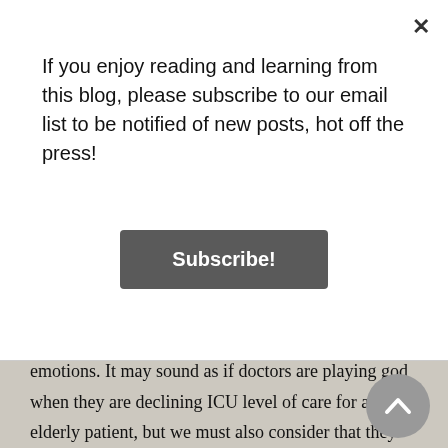If you enjoy reading and learning from this blog, please subscribe to our email list to be notified of new posts, hot off the press!
Subscribe!
emotions. It may sound as if doctors are playing god when they are declining ICU level of care for an elderly patient, but we must also consider that they have a duty to provide the most effective care for all of society, not just the one patient. These kind of ethical dilemmas are an everyday occurrence in the medical field and can cause significant guilt, anger, pressure and resentment for the healthcare provider.
To simulate the weight of triage, consider the following scenario. Following an explosion in your neighbourhood,